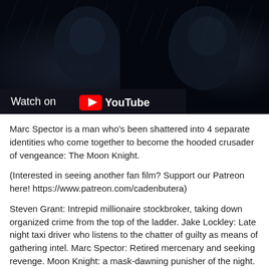[Figure (screenshot): Dark cinematic video thumbnail showing two figures in rain/dark atmosphere, with a 'Watch on YouTube' overlay bar at the bottom left]
Marc Spector is a man who's been shattered into 4 separate identities who come together to become the hooded crusader of vengeance: The Moon Knight.
(Interested in seeing another fan film? Support our Patreon here! https://www.patreon.com/cadenbutera)
Steven Grant: Intrepid millionaire stockbroker, taking down organized crime from the top of the ladder. Jake Lockley: Late night taxi driver who listens to the chatter of guilty as means of gathering intel. Marc Spector: Retired mercenary and seeking revenge. Moon Knight: a mask-dawning punisher of the night.